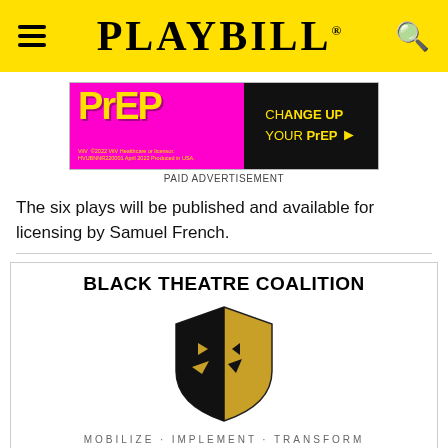PLAYBILL
[Figure (other): PrEP advertisement banner - magenta/pink background with yellow PrEP logo on left, black box on right reading CHANGE UP YOUR PrEP with arrow, ViiV Healthcare copyright notice below logo]
PAID ADVERTISEMENT
The six plays will be published and available for licensing by Samuel French.
[Figure (logo): Black Theatre Coalition logo with shield divided into black and gold halves showing comedy/tragedy mask faces, with tagline MOBILIZE · IMPLEMENT · TRANSFORM]
INDUSTRY NEWS